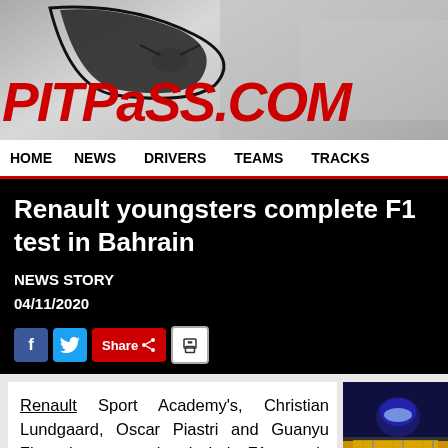[Figure (logo): PitPass.com website header with logo and racing car graphic background]
HOME  NEWS  DRIVERS  TEAMS  TRACKS
Renault youngsters complete F1 test in Bahrain
NEWS STORY
04/11/2020
[Figure (infographic): Social sharing buttons: Facebook, Twitter, Share, Print]
Renault Sport Academy's, Christian Lundgaard, Oscar Piastri and Guanyu Zhou have completed their F1 test in Bahrain as part of their
[Figure (photo): Racing driver in F1 car, blue/yellow livery, closeup]